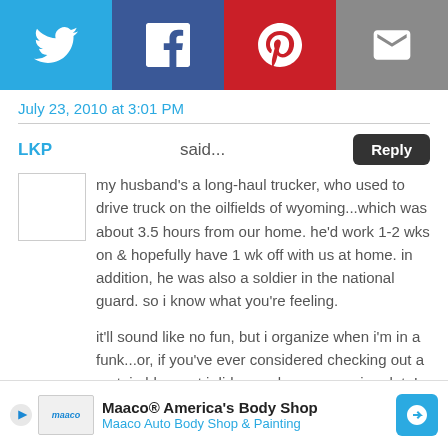[Figure (other): Social sharing bar with Twitter, Facebook, Pinterest, and Email buttons]
July 23, 2010 at 3:01 PM
LKP said...
my husband's a long-haul trucker, who used to drive truck on the oilfields of wyoming...which was about 3.5 hours from our home. he'd work 1-2 wks on & hopefully have 1 wk off with us at home. in addition, he was also a soldier in the national guard. so i know what you're feeling.

it'll sound like no fun, but i organize when i'm in a funk...or, if you've ever considered checking out a certain blogpost i did a week or so ago, i update! usually when i'm in a funk, i'm not motivated enough to CREATE, but a good update kinda wakes me up. last
[Figure (other): Maaco advertisement banner: Maaco® America's Body Shop, Maaco Auto Body Shop & Painting]